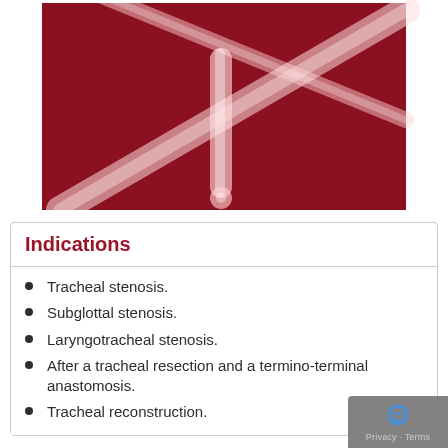[Figure (photo): Medical product photo showing translucent/clear tubular stents or tracheal prostheses arranged against a deep red/crimson background.]
Indications
Tracheal stenosis.
Subglottal stenosis.
Laryngotracheal stenosis.
After a tracheal resection and a termino-terminal anastomosis.
Tracheal reconstruction.